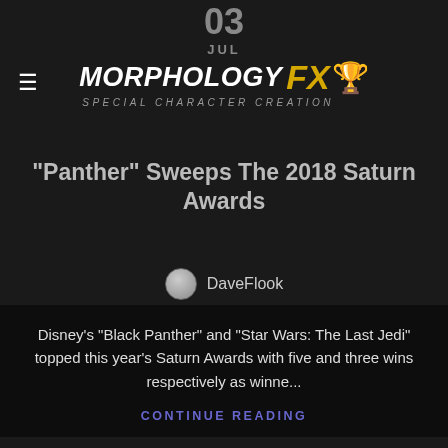03 JUL
[Figure (logo): Morphology FX Special Character Creation logo with Oscar statuette icon in gold]
“Panther” Sweeps The 2018 Saturn Awards
DaveFlook
Disney’s “Black Panther” and “Star Wars: The Last Jedi” topped this year’s Saturn Awards with five and three wins respectively as winne...
CONTINUE READING
03 JUL
BLOG